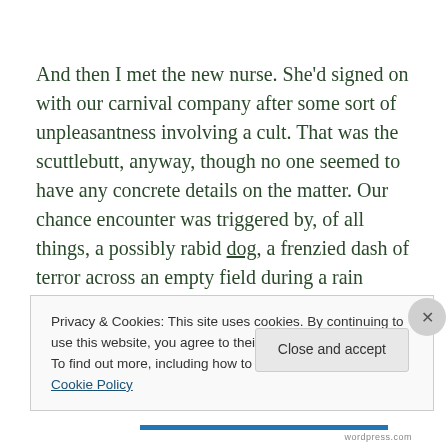And then I met the new nurse. She'd signed on with our carnival company after some sort of unpleasantness involving a cult. That was the scuttlebutt, anyway, though no one seemed to have any concrete details on the matter. Our chance encounter was triggered by, of all things, a possibly rabid dog, a frenzied dash of terror across an empty field during a rain storm, and a lightning strike.
Privacy & Cookies: This site uses cookies. By continuing to use this website, you agree to their use.
To find out more, including how to control cookies, see here: Cookie Policy
Close and accept